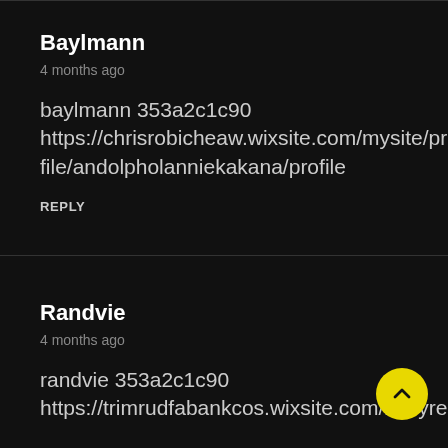Baylmann
4 months ago
baylmann 353a2c1c90
https://chrisrobicheaw.wixsite.com/mysite/profile/andolpholanniekakana/profile
REPLY
Randvie
4 months ago
randvie 353a2c1c90
https://trimrudfabankcos.wixsite.com/lethyrec